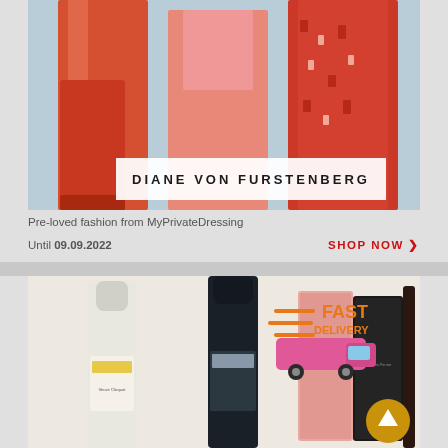[Figure (photo): Fashion photo showing women in red/orange outfits with Diane Von Furstenberg brand banner overlay]
Pre-loved fashion from MyPrivateDressing
Until 09.09.2022
SHOP NOW >
[Figure (photo): Champagne bottles including Veuve Clicquot and Laurent-Perrier with a Fast Delivery badge in the top right corner]